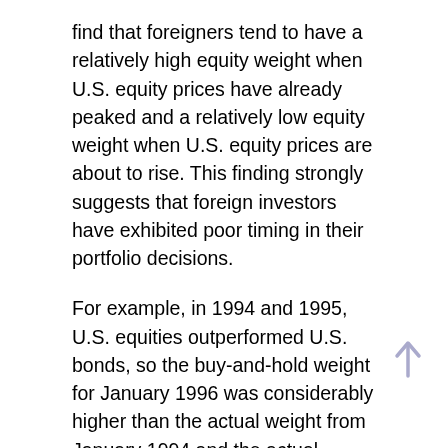find that foreigners tend to have a relatively high equity weight when U.S. equity prices have already peaked and a relatively low equity weight when U.S. equity prices are about to rise. This finding strongly suggests that foreign investors have exhibited poor timing in their portfolio decisions.
For example, in 1994 and 1995, U.S. equities outperformed U.S. bonds, so the buy-and-hold weight for January 1996 was considerably higher than the actual weight from January 1994 and the actual weight for January 1996. In fact, actual equity weights are lower than the buy-and-hold weights for most of the second half of the 1990s. Putting a low weight on U.S. equity during the late 1990s, the researchers point out, proved to be a poor decision, as U.S. equities performed spectacularly during that period. When U.S. equities peaked in early 2000, foreigners' actual equity weights were higher than the buy-and-